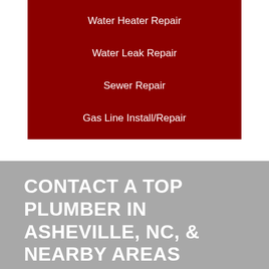Water Heater Repair
Water Leak Repair
Sewer Repair
Gas Line Install/Repair
CONTACT A TOP PLUMBER IN ASHEVILLE, NC, & NEARBY AREAS